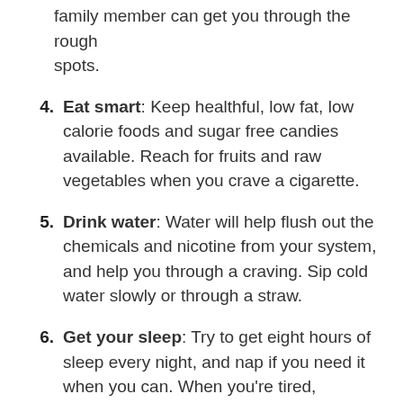family member can get you through the rough spots.
4. Eat smart: Keep healthful, low fat, low calorie foods and sugar free candies available. Reach for fruits and raw vegetables when you crave a cigarette.
5. Drink water: Water will help flush out the chemicals and nicotine from your system, and help you through a craving. Sip cold water slowly or through a straw.
6. Get your sleep: Try to get eight hours of sleep every night, and nap if you need it when you can. When you're tired, cravings to smoke will seem stronger and you'll have less energy to deal with them.